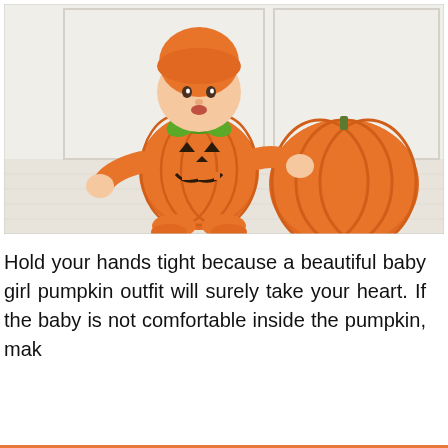[Figure (photo): A baby dressed in an orange pumpkin Halloween costume with a green leaf collar and orange hat, sitting on a white wooden floor next to a large real pumpkin. The background is a white room.]
Hold your hands tight because a beautiful baby girl pumpkin outfit will surely take your heart. If the baby is not comfortable inside the pumpkin, mak